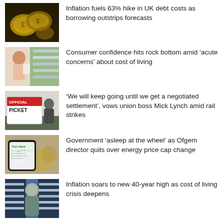[Figure (photo): Gold pound coin tokens on dark background]
Inflation fuels 63% hike in UK debt costs as borrowing outstrips forecasts
[Figure (photo): Woman in supermarket checking product label]
Consumer confidence hits rock bottom amid ‘acute concerns’ about cost of living
[Figure (photo): Official Picket sign with person in background]
‘We will keep going until we get a negotiated settlement’, vows union boss Mick Lynch amid rail strikes
[Figure (photo): Smartphone showing energy bill with coins in background]
Government ‘asleep at the wheel’ as Ofgem director quits over energy price cap change
[Figure (photo): Person in supermarket aisle with shelves of products]
Inflation soars to new 40-year high as cost of living crisis deepens